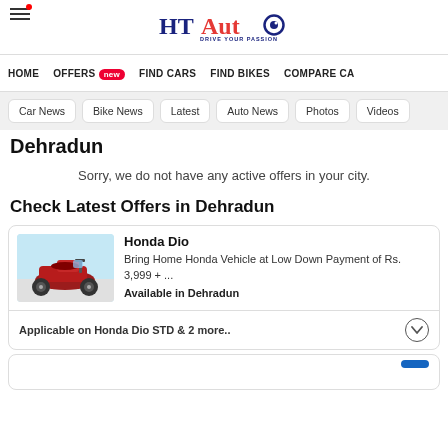HT Auto – Drive Your Passion
HOME  OFFERS new  FIND CARS  FIND BIKES  COMPARE CA…
Car News
Bike News
Latest
Auto News
Photos
Videos
Dehradun
Sorry, we do not have any active offers in your city.
Check Latest Offers in Dehradun
[Figure (photo): Honda Dio scooter against a coastal background]
Honda Dio
Bring Home Honda Vehicle at Low Down Payment of Rs. 3,999 + ...
Available in Dehradun
Applicable on Honda Dio STD & 2 more..